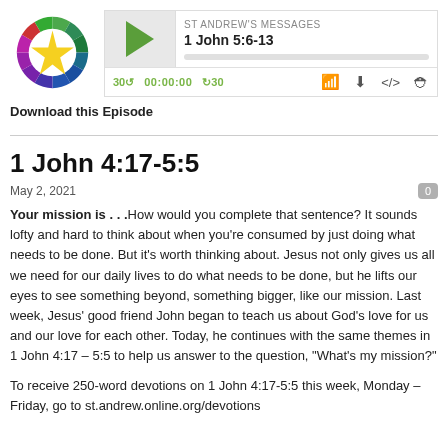[Figure (logo): Circular colorful logo with rainbow-colored ring segments around a yellow cross/star shape on white background]
[Figure (screenshot): Podcast player widget showing ST ANDREW'S MESSAGES, episode '1 John 5:6-13', with play button, time display 00:00:00, rewind/forward 30 controls, and icons for RSS, download, embed, and share]
Download this Episode
1 John 4:17-5:5
May 2, 2021
Your mission is . . .How would you complete that sentence? It sounds lofty and hard to think about when you're consumed by just doing what needs to be done. But it's worth thinking about. Jesus not only gives us all we need for our daily lives to do what needs to be done, but he lifts our eyes to see something beyond, something bigger, like our mission. Last week, Jesus' good friend John began to teach us about God's love for us and our love for each other. Today, he continues with the same themes in 1 John 4:17 – 5:5 to help us answer to the question, "What's my mission?"
To receive 250-word devotions on 1 John 4:17-5:5 this week, Monday – Friday, go to st.andrew.online.org/devotions